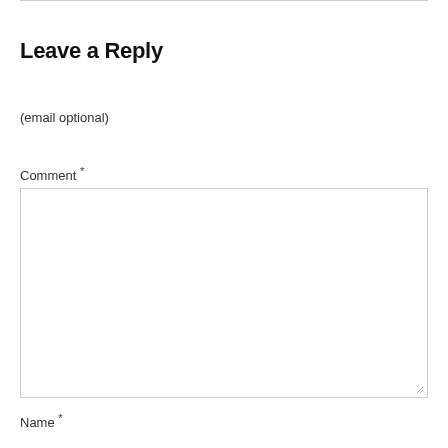Leave a Reply
(email optional)
Comment *
Name *